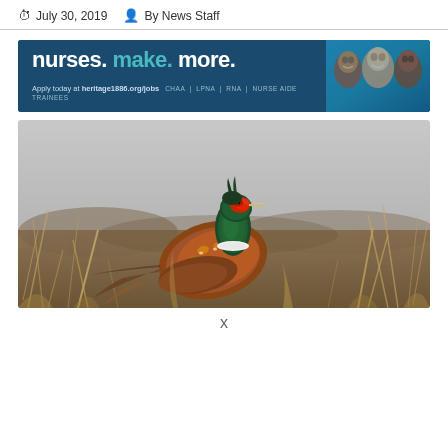July 30, 2019  By News Staff
[Figure (photo): Advertising banner: 'nurses. make. more.' with photo of smiling people and text 'Apply today at heritage1886.org/jobs | CHAA | LPNA | RNA | NURSE AIDE TRAINEES']
[Figure (photo): Close-up photograph of a ring-necked pheasant (rooster) standing in dry grass field, showing colorful plumage with green head, red face patch, white neck ring, and brown/orange body feathers]